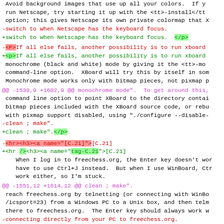Avoid background images that use up all your colors.  If you run Netscape, try starting it up with the <tt>-install</tt> option; this gives Netscape its own private colormap that X -switch to when Netscape has the keyboard focus. +switch to when Netscape has the keyboard focus.  </p>
-<P>If all else fails, another possibility is to run xboard +<p>If all else fails, another possibility is to run xboard  monochrome (black and white) mode by giving it the <tt>-mo command-line option.  XBoard will try this by itself in so Monochrome mode works only with bitmap pieces, not pixmap p
@@ -1539,9 +1602,9 @@ monochrome mode".  To get around this, command line option to point XBoard to the directory conta bitmap pieces included with the XBoard source code, or reb with pixmap support disabled, using "./configure --disable- -clean ; make". +clean ; make".</p>
-<hr><h3><a name="[C.21]">[C.21] +<hr /><h3><a name="tag-C.21">[C.21]     When I log in to freechess.org, the Enter key doesn't wo     have to use Ctrl+J instead.  But when I use WinBoard, Ct     work either, so I'm stuck.
@@ -1551,12 +1614,12 @@ clean ; make".  reach freechess.org by telnetting (or connecting with Win /icsport=23) from a Windows PC to a Unix box, and then tel there to freechess.org.  The Enter key should always work -connecting directly from your PC to freechess.org. +connecting directly from your PC to freechess.org.</p>
<p>The best way to get around the problem is to run timese intermediate Unix box instead of telnet.  Get the approp